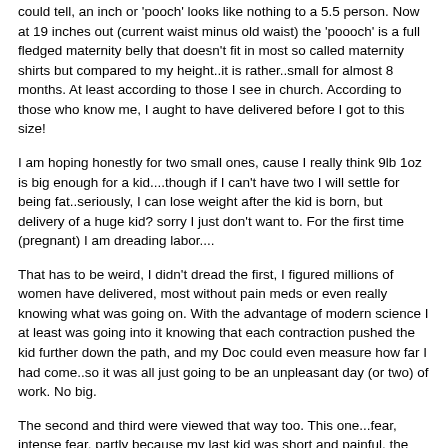could tell, an inch or 'pooch' looks like nothing to a 5.5 person. Now at 19 inches out (current waist minus old waist) the 'poooch' is a full fledged maternity belly that doesn't fit in most so called maternity shirts but compared to my height..it is rather..small for almost 8 months. At least according to those I see in church. According to those who know me, I aught to have delivered before I got to this size!
I am hoping honestly for two small ones, cause I really think 9lb 1oz is big enough for a kid....though if I can't have two I will settle for being fat..seriously, I can lose weight after the kid is born, but delivery of a huge kid? sorry I just don't want to. For the first time (pregnant) I am dreading labor....
That has to be weird, I didn't dread the first, I figured millions of women have delivered, most without pain meds or even really knowing what was going on. With the advantage of modern science I at least was going into it knowing that each contraction pushed the kid further down the path, and my Doc could even measure how far I had come..so it was all just going to be an unpleasant day (or two) of work. No big.
The second and third were viewed that way too. This one...fear, intense fear. partly because my last kid was short and painful, the pushing was 15 minutes of tearing PAIN.... pain worse than the previous two, And I don't know just exactly what was different to make it so bad..though he was the biggest kid. (first 8lb 13oz, second 8b 1oz, third 9lb 1oz).